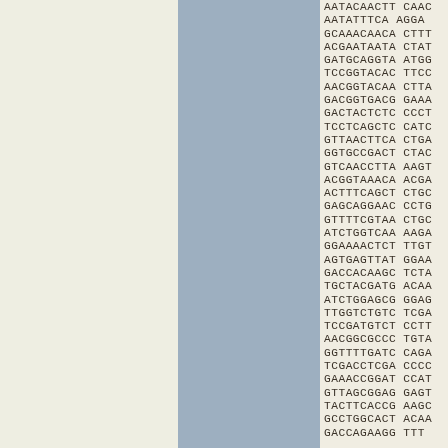[Figure (other): DNA sequence data displayed in monospace font, two columns of 10-character sequence blocks per row, on a page with three visual columns: cream/beige left column, steel blue middle column, and sequence text on the right portion.]